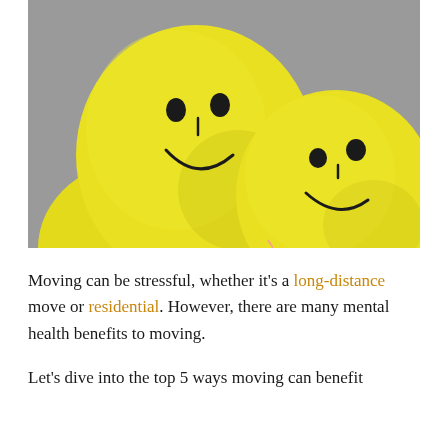[Figure (photo): Three yellow smiley face balloons lying on a grey carpet surface]
Moving can be stressful, whether it's a long-distance move or residential. However, there are many mental health benefits to moving.
Let's dive into the top 5 ways moving can benefit